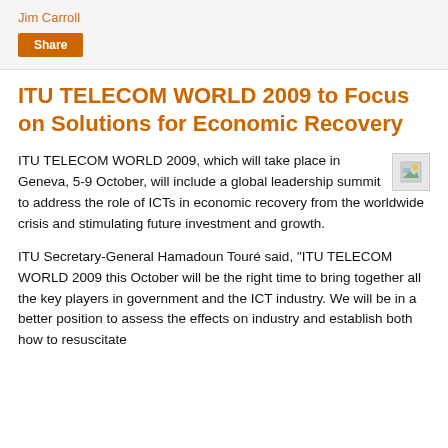Jim Carroll
Share
ITU TELECOM WORLD 2009 to Focus on Solutions for Economic Recovery
ITU TELECOM WORLD 2009, which will take place in Geneva, 5-9 October, will include a global leadership summit to address the role of ICTs in economic recovery from the worldwide crisis and stimulating future investment and growth.
ITU Secretary-General Hamadoun Touré said, "ITU TELECOM WORLD 2009 this October will be the right time to bring together all the key players in government and the ICT industry. We will be in a better position to assess the effects on industry and establish both how to resuscitate